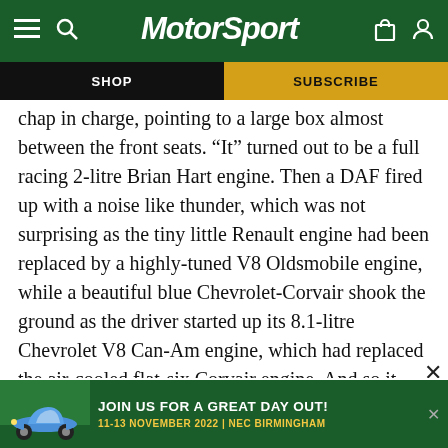MotorSport — navigation bar with SHOP and SUBSCRIBE options
chap in charge, pointing to a large box almost between the front seats. “It” turned out to be a full racing 2-litre Brian Hart engine. Then a DAF fired up with a noise like thunder, which was not surprising as the tiny little Renault engine had been replaced by a highly-tuned V8 Oldsmobile engine, while a beautiful blue Chevrolet-Corvair shook the ground as the driver started up its 8.1-litre Chevrolet V8 Can-Am engine, which had replaced the air-cooled flat-six Corvair engine. And so it went on, every saloon [partially obscured] in and [partially obscured] nd
[Figure (infographic): Advertisement banner: JOIN US FOR A GREAT DAY OUT! 11-13 NOVEMBER 2022 | NEC BIRMINGHAM, featuring a blue Porsche 911 car image on a green background]